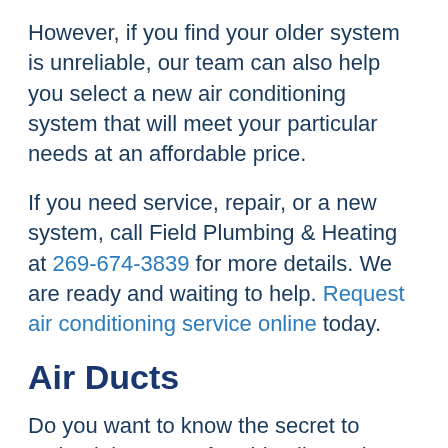However, if you find your older system is unreliable, our team can also help you select a new air conditioning system that will meet your particular needs at an affordable price.
If you need service, repair, or a new system, call Field Plumbing & Heating at 269-674-3839 for more details. We are ready and waiting to help. Request air conditioning service online today.
Air Ducts
Do you want to know the secret to maintaining a comfortable climate in your home? How about an often-overlooked way to reduce your